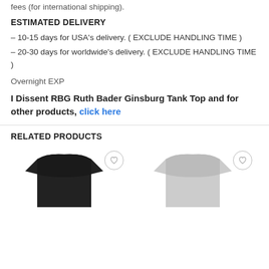fees (for international shipping).
ESTIMATED DELIVERY
– 10-15 days for USA's delivery. ( EXCLUDE HANDLING TIME )
– 20-30 days for worldwide's delivery. ( EXCLUDE HANDLING TIME )
Overnight EXP
I Dissent RBG Ruth Bader Ginsburg Tank Top and for other products, click here
RELATED PRODUCTS
[Figure (photo): Two product thumbnail images of t-shirts (one dark/black, one light/grey) with heart/wishlist buttons, shown at the bottom of the page under Related Products section.]